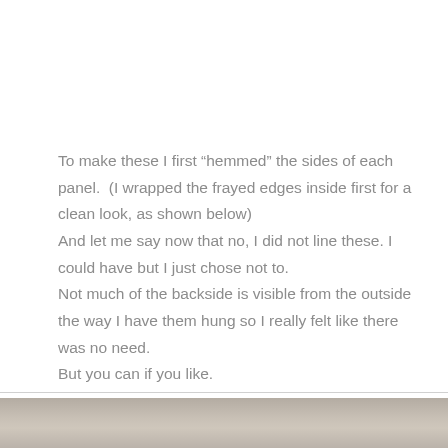To make these I first “hemmed” the sides of each panel.  (I wrapped the frayed edges inside first for a clean look, as shown below)
And let me say now that no, I did not line these. I could have but I just chose not to.
Not much of the backside is visible from the outside the way I have them hung so I really felt like there was no need.

But you can if you like.
[Figure (photo): Partial photo strip visible at the bottom of the page, showing a blurred or light-colored surface.]